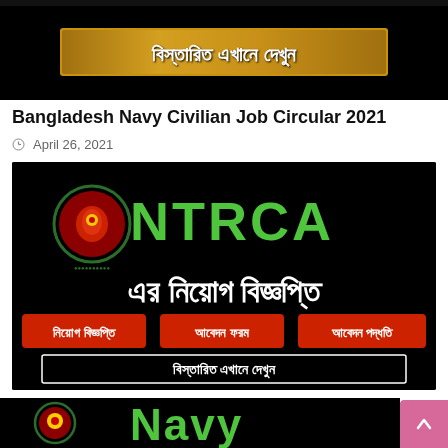[Figure (screenshot): Bangladesh Navy Civilian Job Circular banner with Bengali text 'বিস্তারিত এখানে দেখুন' on a gold banner, black background]
Bangladesh Navy Civilian Job Circular 2021
April 26, 2021
[Figure (screenshot): NTRCA job circular banner with NTRCA logo, Bengali text 'এর নিয়োগ বিজ্ঞপ্তি', three red buttons with Bengali labels 'নিয়োগ বিজ্ঞপ্তি', 'আবেদন ফরম', 'আবেদন পদ্ধতি', and a white-bordered box with Bengali text 'বিস্তারিত এখানে দেখুন', black background]
NTRCA Job Circular 2021
April 12, 2021
[Figure (screenshot): Bangladesh Navy job circular banner partial view showing circle logo and 'Navy' in green text, black background]